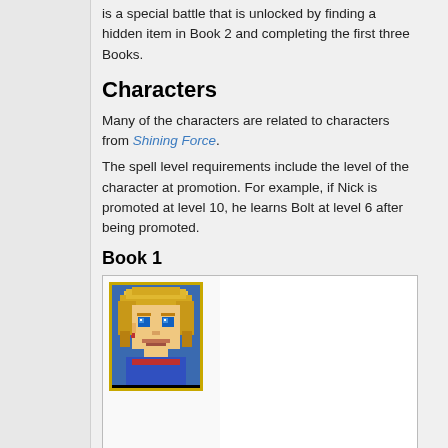is a special battle that is unlocked by finding a hidden item in Book 2 and completing the first three Books.
Characters
Many of the characters are related to characters from Shining Force.
The spell level requirements include the level of the character at promotion. For example, if Nick is promoted at level 10, he learns Bolt at level 6 after being promoted.
Book 1
| [character portrait image] |  |